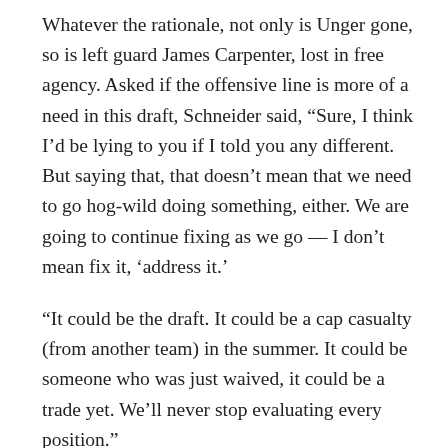Whatever the rationale, not only is Unger gone, so is left guard James Carpenter, lost in free agency. Asked if the offensive line is more of a need in this draft, Schneider said, “Sure, I think I’d be lying to you if I told you any different. But saying that, that doesn’t mean that we need to go hog-wild doing something, either. We are going to continue fixing as we go — I don’t mean fix it, ‘address it.’
“It could be the draft. It could be a cap casualty (from another team) in the summer. It could be someone who was just waived, it could be a trade yet. We’ll never stop evaluating every position.”
So the presumption is that if the Seahawks had the stones to start Wilson at quarterback three years ago, and rookie Justin Britt at right tackle last year, and use five undrafted players at wide receiver in the Super Bowl, they are not in